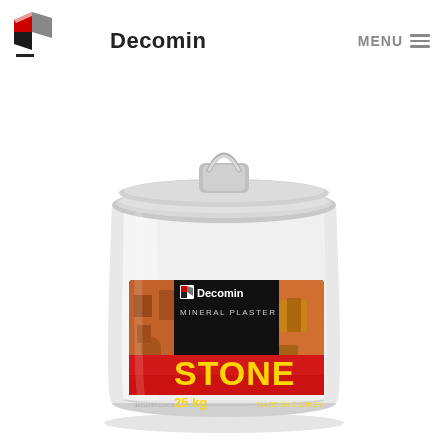Decomin | MENU
[Figure (photo): A white plastic bucket product of Decomin brand labeled 'Mineral Plaster STONE 25 kg Made in Turkey'. The label has a black background with building images, Decomin logo, and a red band with large yellow 'STONE' text.]